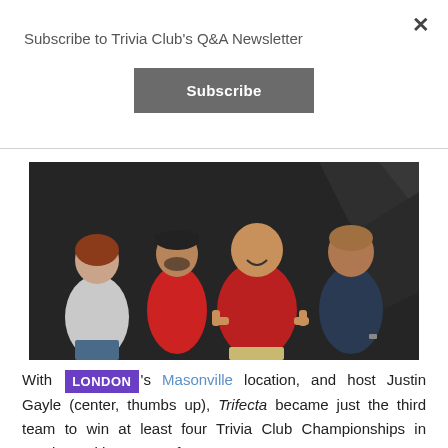×
Subscribe to Trivia Club's Q&A Newsletter
Subscribe
[Figure (photo): Group photo of four people standing together: a woman in a gray top, a man in a red jacket, a larger man in a red sweater giving thumbs up, and a man in a dark shirt, against a dark draped background.]
With LONDON 's Masonville location, and host Justin Gayle (center, thumbs up), Trifecta became just the third team to win at least four Trivia Club Championships in London! With a score of 110